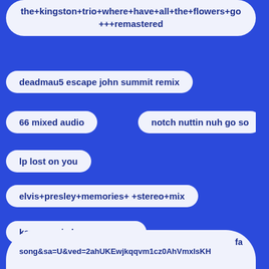the+kingston+trio+where+have+all+the+flowers+go+++remastered
deadmau5 escape john summit remix
66 mixed audio
notch nuttin nuh go so
lp lost on you
elvis+presley+memories+ +stereo+mix
kany garcia hoy ya me voy
this is how you remind me slowed
med abbasi maadhache l age remix dj zaki
fa song&sa=U&ved=2ahUKEwjkqqvm1cz0AhVmxIsKH